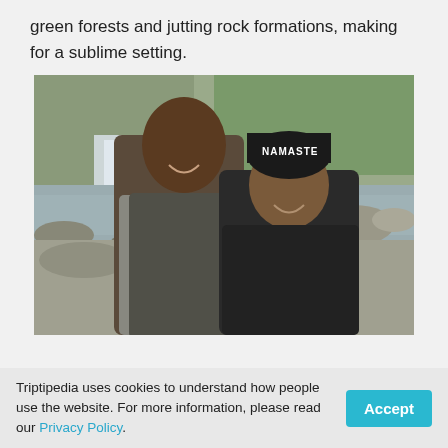green forests and jutting rock formations, making for a sublime setting.
[Figure (photo): Two people posing for a selfie outdoors near a waterfall and rocky stream, surrounded by bare winter trees and evergreen foliage. One person wears a black beanie hat with 'NAMASTE' written on it.]
Triptipedia uses cookies to understand how people use the website. For more information, please read our Privacy Policy.